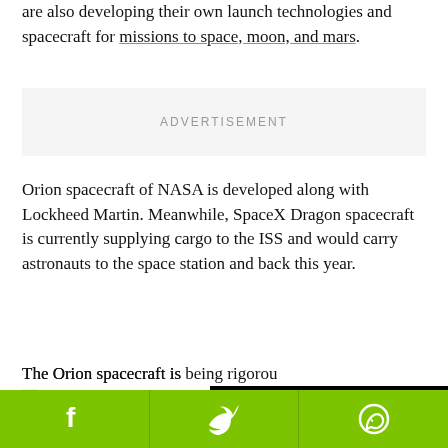are also developing their own launch technologies and spacecraft for missions to space, moon, and mars.
[Figure (other): Advertisement placeholder box with grey background and 'ADVERTISEMENT' label]
Orion spacecraft of NASA is developed along with Lockheed Martin. Meanwhile, SpaceX Dragon spacecraft is currently supplying cargo to the ISS and would carry astronauts to the space station and back this year.
The Orion spacecraft is being rigorously tested for sending unmanned moo... spacecraft would make...
SpaceX Company has a...
[Figure (screenshot): Video player overlay with black background, red play button arrow icon, and a moon image in the center]
[Figure (other): Social share bar with green background containing Facebook, Twitter, and WhatsApp icons]